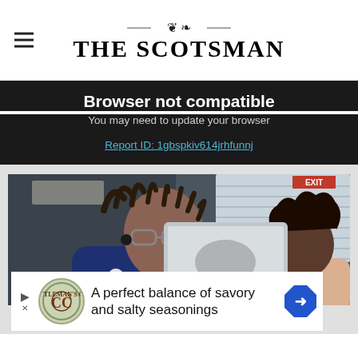THE SCOTSMAN
Browser not compatible
You may need to update your browser
Report ID: 1gbspkiv614jrhfunnj
[Figure (photo): An older man with dreadlocks, glasses, and a Bluetooth earpiece wearing a blue polo shirt, smiling while looking at a laptop screen. A younger woman with curly hair is visible on the right side of the image, also looking at the screen. Office setting with windows and blinds in the background.]
A perfect balance of savory and salty seasonings